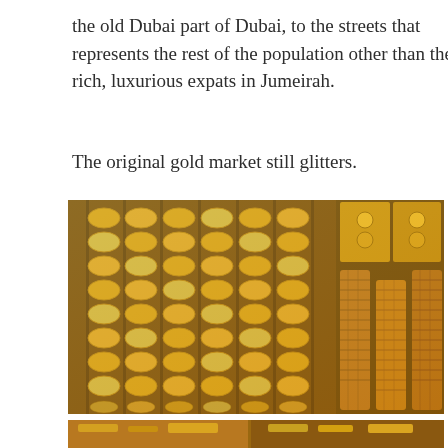the old Dubai part of Dubai, to the streets that represents the rest of the population other than the rich, luxurious expats in Jumeirah.
The original gold market still glitters.
[Figure (photo): A photo of Dubai's gold market (Gold Souk) showing rows of golden bangles and jewelry displayed on racks and cylindrical stands, with intricate gold pieces filling the frame.]
[Figure (photo): A second photo partially visible at the bottom of the page, showing more gold market items.]